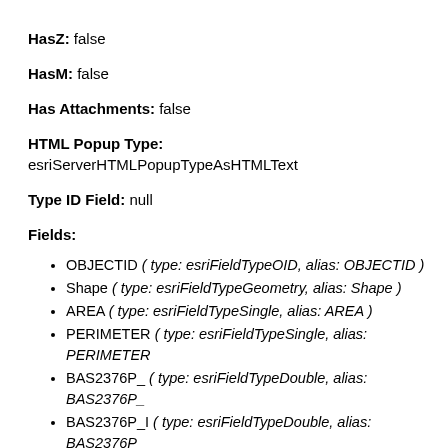HasZ: false
HasM: false
Has Attachments: false
HTML Popup Type: esriServerHTMLPopupTypeAsHTMLText
Type ID Field: null
Fields:
OBJECTID ( type: esriFieldTypeOID, alias: OBJECTID )
Shape ( type: esriFieldTypeGeometry, alias: Shape )
AREA ( type: esriFieldTypeSingle, alias: AREA )
PERIMETER ( type: esriFieldTypeSingle, alias: PERIMETER )
BAS2376P_ ( type: esriFieldTypeDouble, alias: BAS2376P_ )
BAS2376P_I ( type: esriFieldTypeDouble, alias: BAS2376P_ )
ID ( type: esriFieldTypeSmallInteger, alias: ID )
SQM ( type: esriFieldTypeSingle, alias: SQM )
PT2376_ ( type: esriFieldTypeDouble, alias: PT2376_ )
PT2376_ID ( type: esriFieldTypeDouble, alias: PT2376_ID )
COM_ID ( type: esriFieldTypeDouble, alias: COM_ID )
RCH_CODE ( type: esriFieldTypeString, alias: RCH_CODE,